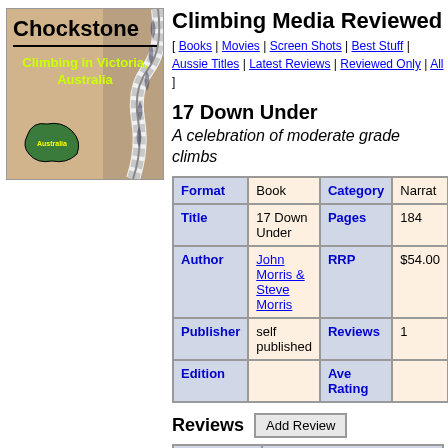[Figure (logo): Chockstone climbing logo with rope image and text 'Climbing in Victoria, Australia']
Climbing Media Reviewed
[ Books | Movies | Screen Shots | Best Stuff | Aussie Titles | Latest Reviews | Reviewed Only | All ]
17 Down Under
A celebration of moderate grade climbs
| Format | Category | Title | Pages | Author | RRP | Publisher | Reviews | Edition | Ave Rating |
| --- | --- | --- | --- | --- | --- | --- | --- | --- | --- |
| Book | Narrat |
| 17 Down Under | 184 |
| John Morris & Steve Morris | $54.00 |
| self published | 1 |
|  |  |
Reviews
| User | Comments |
| --- | --- |